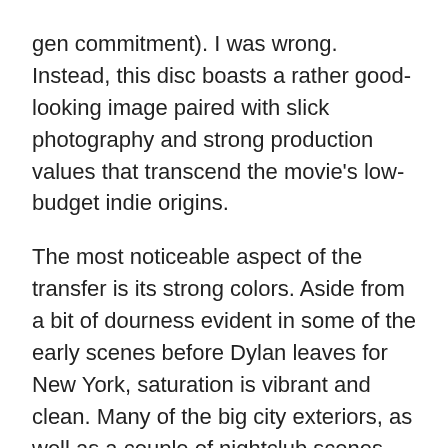gen commitment). I was wrong. Instead, this disc boasts a rather good-looking image paired with slick photography and strong production values that transcend the movie's low-budget indie origins.
The most noticeable aspect of the transfer is its strong colors. Aside from a bit of dourness evident in some of the early scenes before Dylan leaves for New York, saturation is vibrant and clean. Many of the big city exteriors, as well as a couple of nightclub scenes, are quite flush with color. Fleshtones are also generally accurate, although again, some of the early scenes seem a bit too tinted towards green or sickly yellow. There is also a bit of obvious noise in the shadows, typical of shot-on-HD material. Otherwise, this is a sharp, quite detailed presentation -- I came